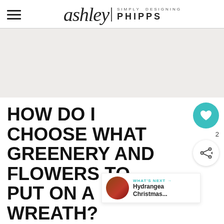Simply Designing ashley | PHIPPS
[Figure (other): Light gray/beige rectangular advertisement or image placeholder area]
HOW DO I CHOOSE WHAT GREENERY AND FLOWERS TO PUT ON A WREATH?
It is really up to you to pick and